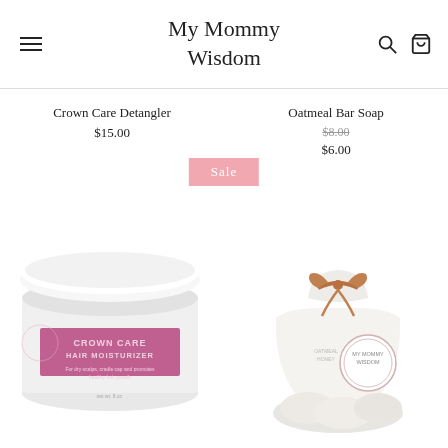My Mommy Wisdom
Crown Care Detangler
$15.00
Oatmeal Bar Soap
$8.00
$6.00
[Figure (photo): White jar of Crown Care Hair Moisturizer product with pink label]
[Figure (photo): White bag of oatmeal honey soap tied with a brown ribbon bow, with My Mommy Wisdom label]